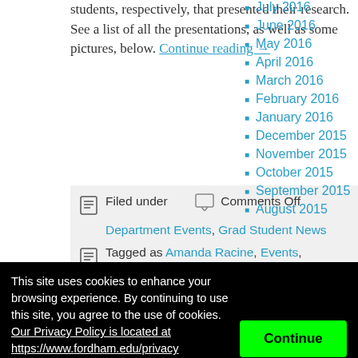students, respectively, that presented their research. See a list of all the presentations, as well as some pictures, below. Continue reading →
Filed under   Comments Off   Department Events, Grad Student News
Tagged as Amanda Racine, Events, graduate conference, graduate students, history of religion, Maryanne Kowaleski, Medieval
July 2016
June 2016
May 2016
April 2016
March 2016
February 2016
January 2016
December 2015
November 2015
October 2015
September 2015
August 2015
This site uses cookies to enhance your browsing experience. By continuing to use this site, you agree to the use of cookies. Our Privacy Policy is located at https://www.fordham.edu/privacy